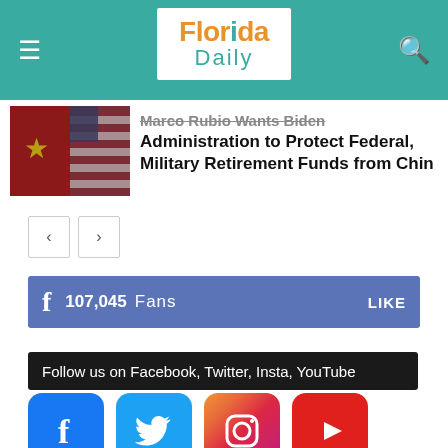Florida Daily
Marco Rubio Wants Biden Administration to Protect Federal, Military Retirement Funds from Chin
107,045 Fans LIKE
Follow us on Facebook, Twitter, Insta, YouTube
[Figure (illustration): Facebook, Twitter, Instagram, YouTube social media icons]